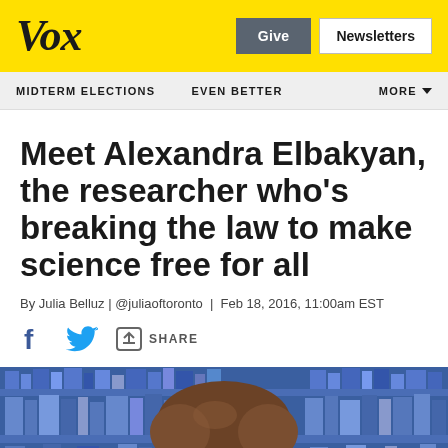Vox
MIDTERM ELECTIONS | EVEN BETTER | MORE
Meet Alexandra Elbakyan, the researcher who's breaking the law to make science free for all
By Julia Belluz | @juliaoftoronto | Feb 18, 2016, 11:00am EST
[Figure (illustration): Social sharing icons: Facebook, Twitter, and a generic share button with SHARE label]
[Figure (illustration): Illustrated image of a person in front of a bookshelf with blue books, showing the back of a person's head with brown hair]